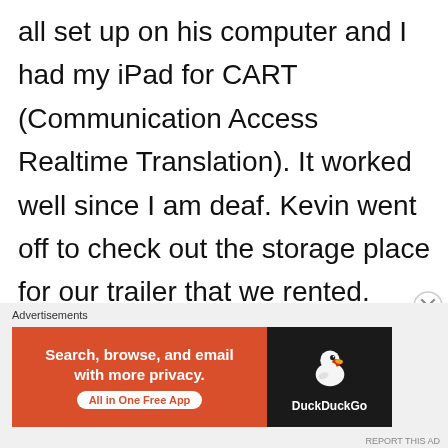all set up on his computer and I had my iPad for CART (Communication Access Realtime Translation). It worked well since I am deaf. Kevin went off to check out the storage place for our trailer that we rented. Afterwards, Kevin and I went on a walk-about and then came back and had sandwiches for supper at 7:00 PM. Enjoyed a lovely evening reading outside.
[Figure (other): DuckDuckGo advertisement banner with orange left panel reading 'Search, browse, and email with more privacy. All in One Free App' and dark right panel with DuckDuckGo duck logo and brand name.]